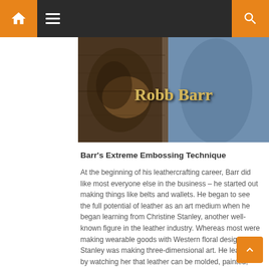Navigation bar with home icon, menu icon, and search icon
[Figure (photo): Photo of Robb Barr, a leathercrafter, with text 'Robb Barr' overlaid in stylized gold lettering. The image shows a person working with leather against a wooden background.]
Barr's Extreme Embossing Technique
At the beginning of his leathercrafting career, Barr did like most everyone else in the business – he started out making things like belts and wallets. He began to see the full potential of leather as an art medium when he began learning from Christine Stanley, another well-known figure in the leather industry. Whereas most were making wearable goods with Western floral designs, Stanley was making three-dimensional art. He learned by watching her that leather can be molded, painted, dyed, tooled and just about anything else.